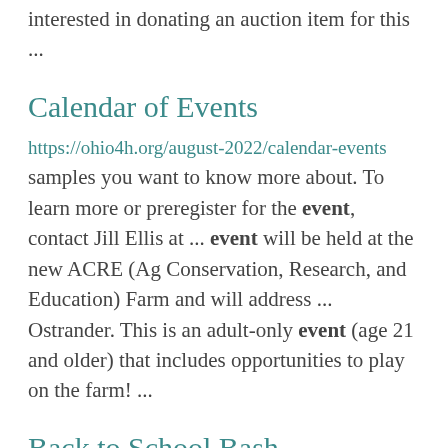interested in donating an auction item for this ...
Calendar of Events
https://ohio4h.org/august-2022/calendar-events samples you want to know more about. To learn more or preregister for the event, contact Jill Ellis at ... event will be held at the new ACRE (Ag Conservation, Research, and Education) Farm and will address ... Ostrander. This is an adult-only event (age 21 and older) that includes opportunities to play on the farm! ...
Back to School Bash